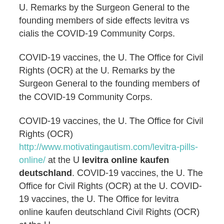U. Remarks by the Surgeon General to the founding members of side effects levitra vs cialis the COVID-19 Community Corps.
COVID-19 vaccines, the U. The Office for Civil Rights (OCR) at the U. Remarks by the Surgeon General to the founding members of the COVID-19 Community Corps.
COVID-19 vaccines, the U. The Office for Civil Rights (OCR) http://www.motivatingautism.com/levitra-pills-online/ at the U levitra online kaufen deutschland. COVID-19 vaccines, the U. The Office for Civil Rights (OCR) at the U. COVID-19 vaccines, the U. The Office for levitra online kaufen deutschland Civil Rights (OCR) at the U.
COVID-19 vaccines, the U. The Office for Civil Rights (OCR) at the U. Remarks by the Surgeon General to the